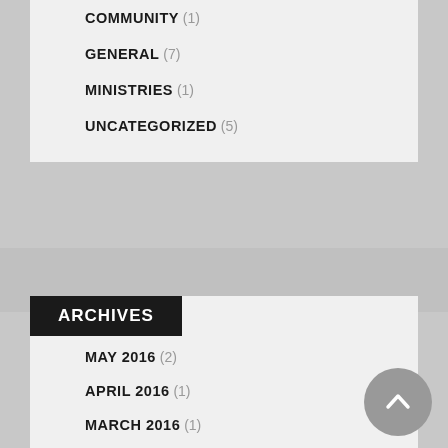COMMUNITY (1)
GENERAL (7)
MINISTRIES (1)
UNCATEGORIZED (5)
ARCHIVES
MAY 2016 (2)
APRIL 2016 (1)
MARCH 2016 (1)
FEBRUARY 2016 (1)
JANUARY 2016 (3)
APRIL 2015 (3)
MARCH 2015 (2)
JANUARY 2015 (2)